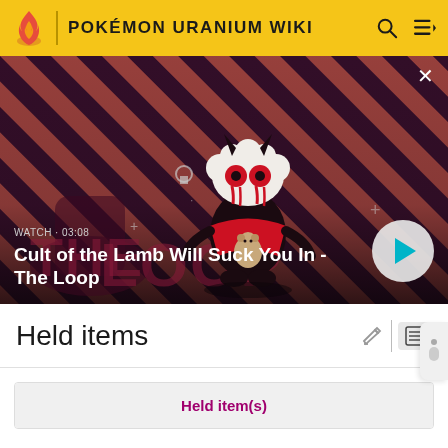POKÉMON URANIUM WIKI
[Figure (screenshot): Video thumbnail showing a cartoon lamb character with devil horns against a red and dark purple diagonal stripe background. Text overlay reads 'WATCH · 03:08' and 'Cult of the Lamb Will Suck You In - The Loop' with a play button on the right.]
Held items
| Held item(s) |
| --- |